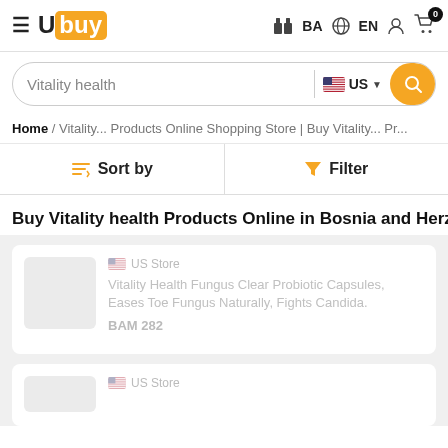Ubuy | BA | EN
Vitality health | US
Home / Vitality... Products Online Shopping Store | Buy Vitality... Pr...
Sort by  |  Filter
Buy Vitality health Products Online in Bosnia and Herzeg
US Store
Vitality Health Fungus Clear Probiotic Capsules, Eases Toe Fungus Naturally, Fights Candida.
BAM 282
US Store